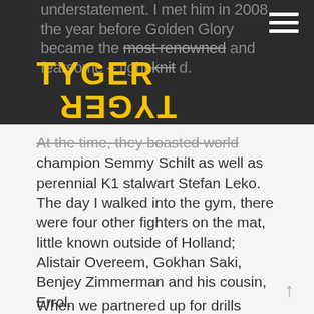understatement. I met him in 2008, the year before Golden Glory became the [most renowned] and fearsome – tight [knit] d.
[Figure (logo): Tyger Tyger logo in yellow bold text with mirrored/flipped version below on dark background]
At the time, they boasted world champion Semmy Schilt as well as perennial K1 stalwart Stefan Leko. The day I walked into the gym, there were four other fighters on the mat, little known outside of Holland; Alistair Overeem, Gokhan Saki, Benjey Zimmerman and his cousin, Errol.
When we partnered up for drills training, I got a sense of the call/response mode of training known as the Dutch Method. When we d